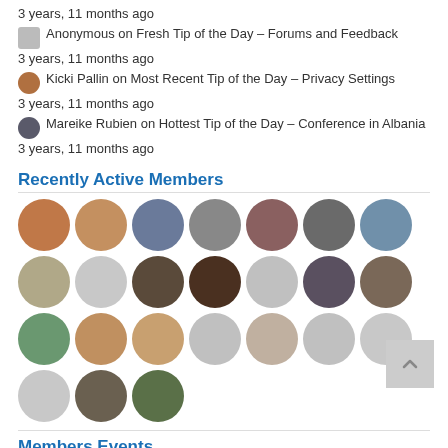3 years, 11 months ago
Anonymous on Fresh Tip of the Day – Forums and Feedback
3 years, 11 months ago
Kicki Pallin on Most Recent Tip of the Day – Privacy Settings
3 years, 11 months ago
Mareike Rubien on Hottest Tip of the Day – Conference in Albania
3 years, 11 months ago
Recently Active Members
[Figure (photo): Grid of circular profile photo avatars showing 24 recently active members]
Members Events